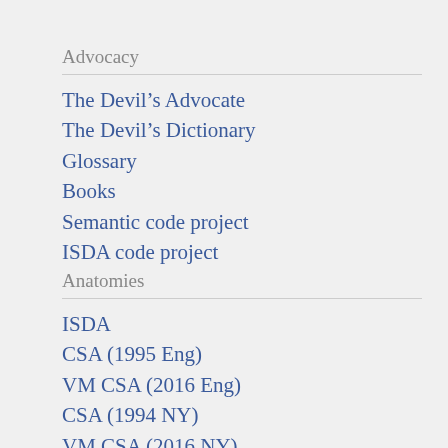Advocacy
The Devil's Advocate
The Devil's Dictionary
Glossary
Books
Semantic code project
ISDA code project
Anatomies
ISDA
CSA (1995 Eng)
VM CSA (2016 Eng)
CSA (1994 NY)
VM CSA (2016 NY)